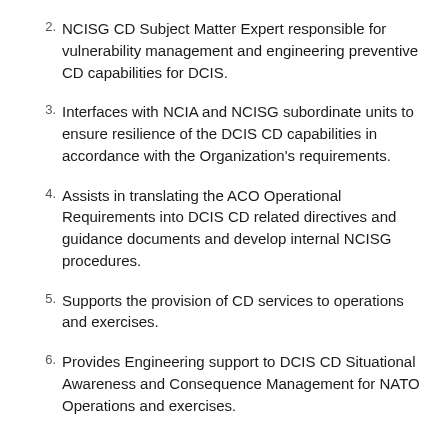NCISG CD Subject Matter Expert responsible for vulnerability management and engineering preventive CD capabilities for DCIS.
Interfaces with NCIA and NCISG subordinate units to ensure resilience of the DCIS CD capabilities in accordance with the Organization's requirements.
Assists in translating the ACO Operational Requirements into DCIS CD related directives and guidance documents and develop internal NCISG procedures.
Supports the provision of CD services to operations and exercises.
Provides Engineering support to DCIS CD Situational Awareness and Consequence Management for NATO Operations and exercises.